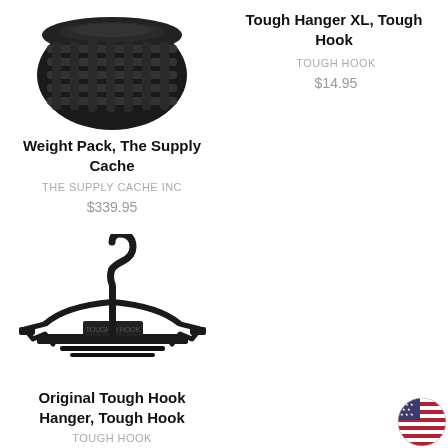[Figure (photo): Black tactical/military round weight or canteen cap product image, top-left product]
[Figure (photo): Tough Hanger XL Tough Hook product image (partially visible at top right)]
Tough Hanger XL, Tough Hook
TOUGH HOOK
$14.95
Weight Pack, The Supply Cache
THE SUPPLY CACHE INC
$339.95
[Figure (photo): Black Original Tough Hook hanger product image]
Original Tough Hook Hanger, Tough Hook
TOUGH HOOK
$16.95
[Figure (illustration): US flag circular badge icon, bottom right corner]